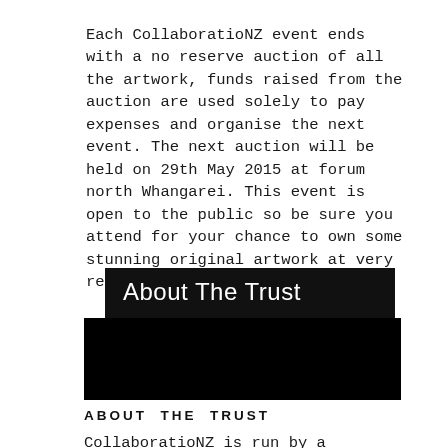Each CollaboratioNZ event ends with a no reserve auction of all the artwork, funds raised from the auction are used solely to pay expenses and organise the next event. The next auction will be held on 29th May 2015 at forum north Whangarei. This event is open to the public so be sure you attend for your chance to own some stunning original artwork at very reasonable prices.
About The Trust
[Figure (photo): Black rectangular image area (photo content not visible)]
ABOUT THE TRUST
CollaboratioNZ is run by a charitable trust made up of local artists who donate their time to make this great event happen. The